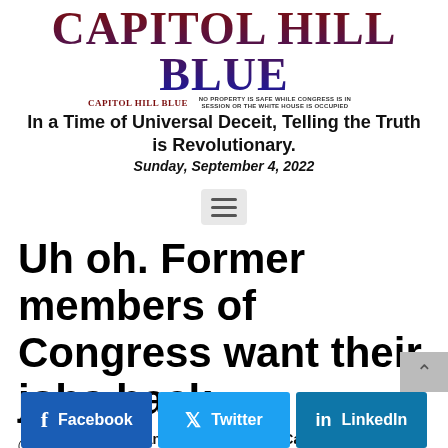CAPITOL HILL BLUE — CAPITOL HILL BLUE NO PROPERTY IS SAFE WHILE CONGRESS IS IN SESSION OR THE WHITE HOUSE IS OCCUPIED
In a Time of Universal Deceit, Telling the Truth is Revolutionary.
Sunday, September 4, 2022
[Figure (other): Hamburger menu icon (three horizontal lines)]
Uh oh. Former members of Congress want their jobs back
By AP  January 8, 2014  Capitol Hillbillies, News
[Figure (infographic): Social share buttons: Facebook, Twitter, LinkedIn]